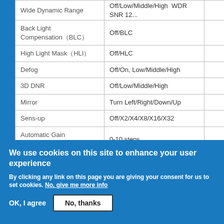| Feature | Options |  |
| --- | --- | --- |
| Wide Dynamic Range | Off/Low/Middle/High  WDR SNR 12... |  |
| Back Light Compensation（BLC） | Off/BLC |  |
| High Light Mask（HLI） | Off/HLC |  |
| Defog | Off/On, Low/Middle/High |  |
| 3D DNR | Off/Low/Middle/High |  |
| Mirror | Turn Left/Right/Down/Up |  |
| Sens-up | Off/X2/X4/X8/X16/X32 |  |
| Automatic Gain Control(AGC) | 0-10 steps |  |
| Language | Chinese/English |  |
| Video Output | AHD/TVI/CVI/CVBS-1Vp-p/EX-SDI |  |
| Lens | 3.7MM Pinhole lens |  |
We use cookies on this site to enhance your user experience
By clicking any link on this page you are giving your consent for us to set cookies. No, give me more info